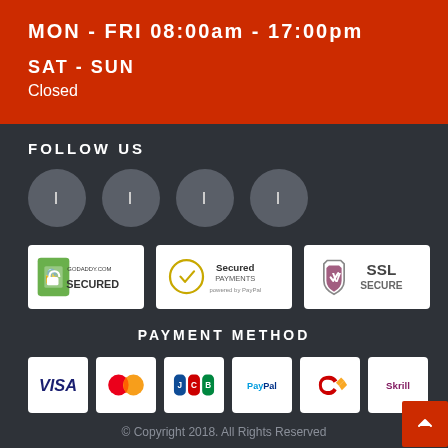MON - FRI 08:00am - 17:00pm
SAT - SUN
Closed
FOLLOW US
[Figure (illustration): Four circular social media icon buttons on dark background]
[Figure (logo): GoDaddy.com Secured badge]
[Figure (logo): Secured Payments powered by PayPal badge]
[Figure (logo): SSL Secure badge]
PAYMENT METHOD
[Figure (logo): Visa payment card logo]
[Figure (logo): MasterCard payment logo]
[Figure (logo): JCB payment logo]
[Figure (logo): PayPal payment logo]
[Figure (logo): Qiwi/wallet payment logo]
[Figure (logo): Skrill payment logo]
© Copyright 2018. All Rights Reserved